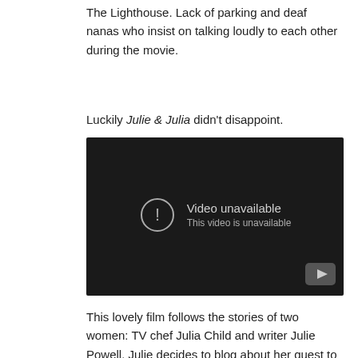The Lighthouse. Lack of parking and deaf nanas who insist on talking loudly to each other during the movie.
Luckily Julie & Julia didn't disappoint.
[Figure (screenshot): Embedded YouTube video player showing 'Video unavailable' message with exclamation circle icon and play button in bottom right corner on dark background.]
This lovely film follows the stories of two women: TV chef Julia Child and writer Julie Powell. Julie decides to blog about her quest to cook all the receipes in Julia's first cookbook. In parallel, we see Julia's quest in the 1950s to get her recipe book published. Highlight of the movie? Meryl Streep's portrayal of Julia Child. She